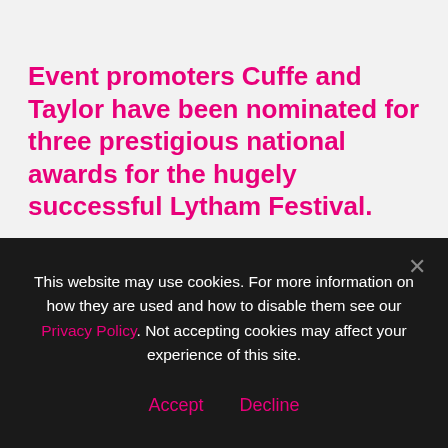Event promoters Cuffe and Taylor have been nominated for three prestigious national awards for the hugely successful Lytham Festival.
The UK Festival Awards 2015 has announced its nominations for this year's awards and Lytham Festival is in the running for Best Medium Sized Festival, Best Family Festival and Best Toilets.
Voting is now open online to the public
This website may use cookies. For more information on how they are used and how to disable them see our Privacy Policy. Not accepting cookies may affect your experience of this site.